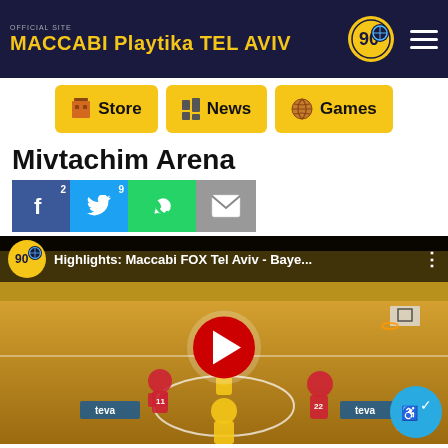Official Site | MACCABI Playtika TEL AVIV
Store | News | Games
Mivtachim Arena
[Figure (screenshot): Social share buttons: Facebook (with count 2), Twitter (with count 9), WhatsApp, Email]
[Figure (screenshot): YouTube video thumbnail showing basketball game highlights: Maccabi FOX Tel Aviv - Baye... with play button overlay, showing players in yellow and red uniforms on a basketball court with a large yellow-dressed crowd in background]